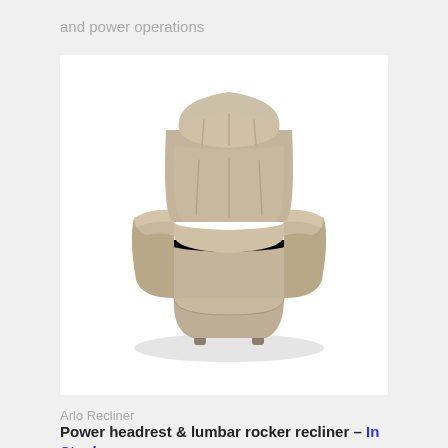and power operations
[Figure (photo): Arlo Recliner — a beige/tan upholstered power recliner chair with tufted back, wide armrests, and a footrest panel at the base, shown in a 3/4 angle view on a white background.]
Arlo Recliner
Power headrest & lumbar rocker recliner – In Stock –